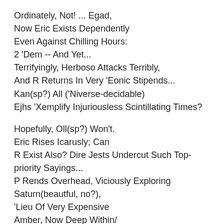Ordinately, Not! ... Egad,
Now Eric Exists Dependently
Even Against Chilling Hours:
2 'Dem -- And Yet...
Terrifyingly, Herboso Attacks Terribly,
And R Returns In Very 'Eonic Stipends...
Kan(sp?) All ('Niverse-decidable)
Ejhs 'Xemplify Injuriousless Scintillating Times?
Hopefully, Oll(sp?) Won't.
Eric Rises Icarusly; Can
R Exist Also? Dire Jests Undercut Such Top-priority Sayings...
P Rends Overhead, Viciously Exploring Saturn(beautful, no?),
'Lieu Of Very Expensive
Amber, Now Deep Within/
Caves. Eric, R, 'T.al. Associate In Never-never-land.
Erkingly(sp?), Nothing Decides Lovelessness Except Superior Standards 'Nd Excitably Supine 'Ssinineness!